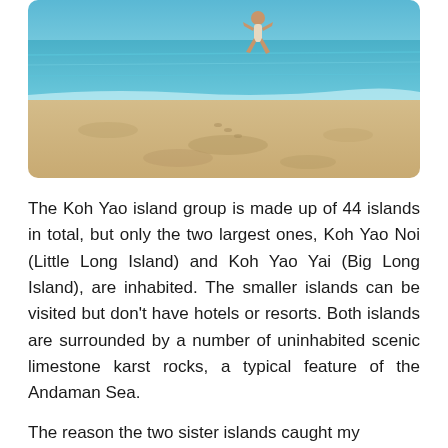[Figure (photo): A beach scene with a person jumping in the air near the water's edge. The beach has light sand with some darker patches, and the water is clear blue/turquoise. The sky is visible at the top.]
The Koh Yao island group is made up of 44 islands in total, but only the two largest ones, Koh Yao Noi (Little Long Island) and Koh Yao Yai (Big Long Island), are inhabited. The smaller islands can be visited but don't have hotels or resorts. Both islands are surrounded by a number of uninhabited scenic limestone karst rocks, a typical feature of the Andaman Sea.
The reason the two sister islands caught my